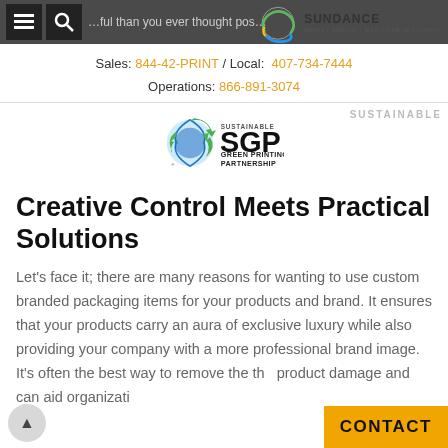Navigation bar with menu, search icons and Sundance Print · Design · Mail · Large Format logo
Sales: 844-42-PRINT / Local: 407-734-7444
Operations: 866-891-3074
[Figure (logo): SGP Sustainable Green Printing Partnership logo with recycling arrows globe icon]
Creative Control Meets Practical Solutions
Let's face it; there are many reasons for wanting to use custom branded packaging items for your products and brand. It ensures that your products carry an aura of exclusive luxury while also providing your company with a more professional brand image. It's often the best way to remove the th... product damage and can aid organizati...